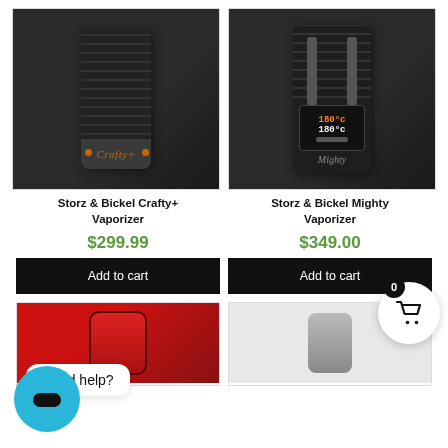[Figure (photo): Storz & Bickel Crafty+ Vaporizer product photo on white/dark background]
[Figure (photo): Storz & Bickel Mighty Vaporizer product photo on white/dark background]
Storz & Bickel Crafty+ Vaporizer
Storz & Bickel Mighty Vaporizer
$299.99
$349.00
Add to cart
Add to cart
Need help?
[Figure (photo): Red vaporizer device, partially visible at bottom left]
[Figure (photo): Grey/silver vaporizer device, partially visible at bottom right]